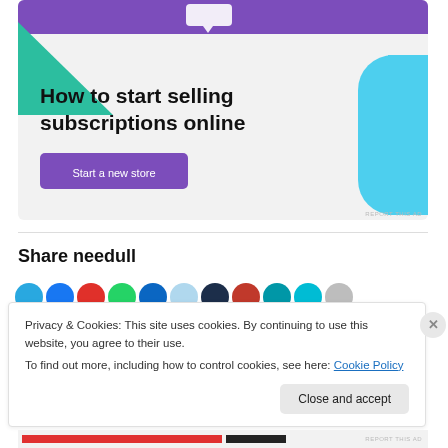[Figure (illustration): Advertisement banner with purple header, green triangle, cyan shape on right, bold title 'How to start selling subscriptions online', and a purple 'Start a new store' button on light gray background.]
Share needull
[Figure (illustration): Row of social media sharing icon circles in various colors (cyan, blue, red, green, dark blue, light blue, navy, dark red, teal, cyan, gray).]
Privacy & Cookies: This site uses cookies. By continuing to use this website, you agree to their use.
To find out more, including how to control cookies, see here: Cookie Policy
Close and accept